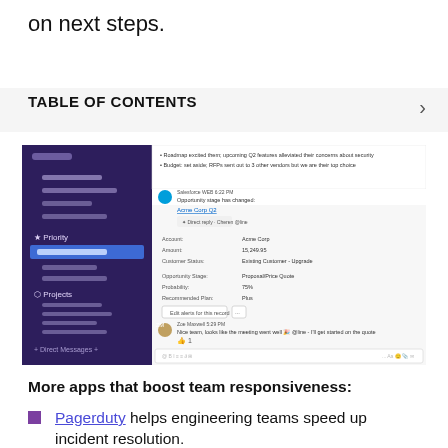on next steps.
TABLE OF CONTENTS
[Figure (screenshot): Screenshot of a messaging/collaboration app (likely Slack) showing a sidebar with Priority and Projects sections on a dark purple background, and a main panel showing Salesforce opportunity details for Acme Corp Q2 with fields like Account, Amount ($15,249.95), Customer Status (Existing Customer - Upgrade), Opportunity Stage (Proposal/Price Quote), Probability (75%), Recommended Plan (Plus), along with a message from Zoe Maxwell.]
More apps that boost team responsiveness:
Pagerduty helps engineering teams speed up incident resolution.